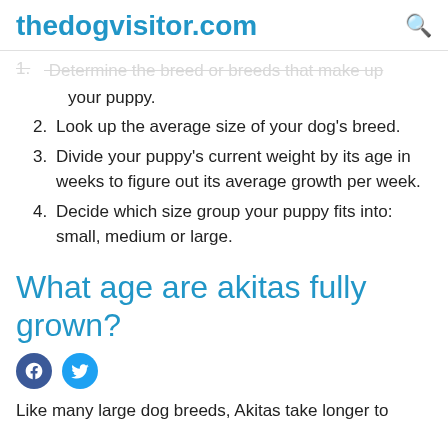thedogvisitor.com
1. Determine the breed or breeds that make up your puppy.
2. Look up the average size of your dog's breed.
3. Divide your puppy's current weight by its age in weeks to figure out its average growth per week.
4. Decide which size group your puppy fits into: small, medium or large.
What age are akitas fully grown?
Like many large dog breeds, Akitas take longer to